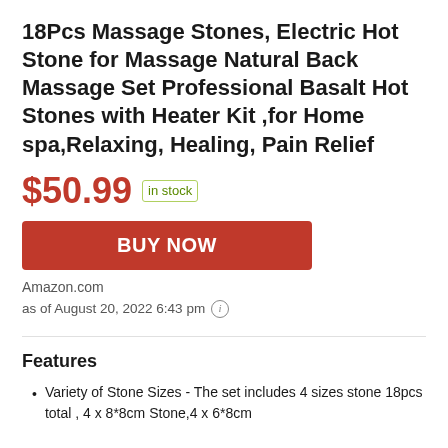18Pcs Massage Stones, Electric Hot Stone for Massage Natural Back Massage Set Professional Basalt Hot Stones with Heater Kit ,for Home spa,Relaxing, Healing, Pain Relief
$50.99  in stock
BUY NOW
Amazon.com
as of August 20, 2022 6:43 pm  ⓘ
Features
Variety of Stone Sizes - The set includes 4 sizes stone 18pcs total , 4 x 8*8cm Stone,4 x 6*8cm